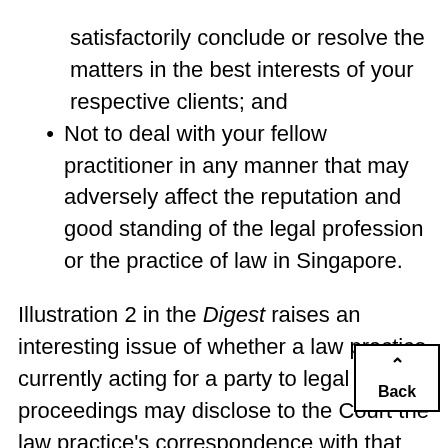satisfactorily conclude or resolve the matters in the best interests of your respective clients; and
Not to deal with your fellow practitioner in any manner that may adversely affect the reputation and good standing of the legal profession or the practice of law in Singapore.
Illustration 2 in the Digest raises an interesting issue of whether a law practice currently acting for a party to legal proceedings may disclose to the Court the law practice's correspondence with that party's former practitioner. The Advisory Committee opined that rule 31 PCR, which deals with communications b practitioners currently acting for their respective